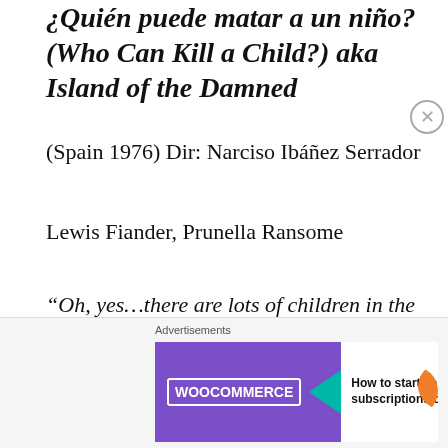¿Quién puede matar a un niño? (Who Can Kill a Child?) aka Island of the Damned
(Spain 1976) Dir: Narciso Ibáñez Serrador
Lewis Fiander, Prunella Ransome
“Oh, yes…there are lots of children in the world. Lots of them.”
A year before Stephen King published his short
Advertisements
[Figure (screenshot): WooCommerce advertisement banner showing logo with teal arrow and text 'How to start selling subscriptions online' with orange decorative element]